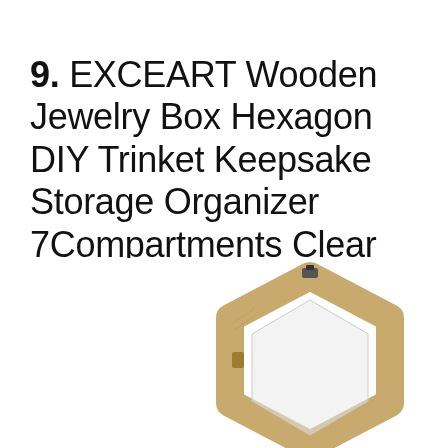9. EXCEART Wooden Jewelry Box Hexagon DIY Trinket Keepsake Storage Organizer 7Compartments Clear Top Craft Blank Box for Ring Bracelet Watch Necklace Earrings
[Figure (photo): A hexagonal wooden jewelry box with a clear top, shown open/propped, natural light wood color, with a small metal latch visible at the top center.]